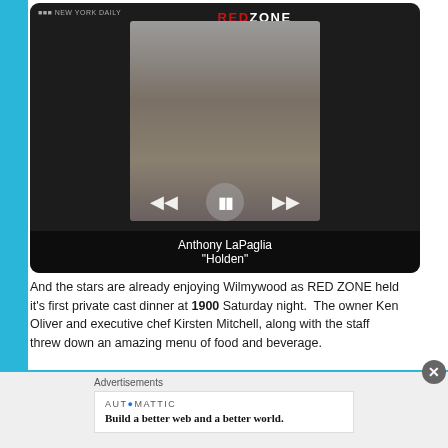[Figure (screenshot): Video player thumbnail showing Anthony LaPaglia as 'Holden' from RED ZONE, with playback controls overlaid on a dark background]
And the stars are already enjoying Wilmywood as RED ZONE held it's first private cast dinner at 1900 Saturday night.  The owner Ken Oliver and executive chef Kirsten Mitchell, along with the staff threw down an amazing menu of food and beverage.
Advertisements
AUTOMATTIC
Build a better web and a better world.